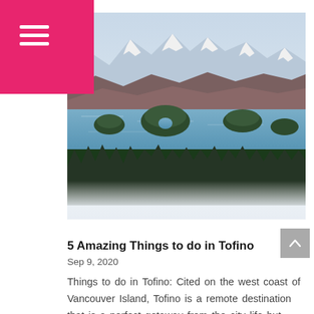≡ (hamburger menu icon)
[Figure (photo): Aerial landscape photograph of Tofino area on Vancouver Island, British Columbia, Canada. Shows snow-capped mountain peaks in the background, forested islands in a calm blue inlet in the middle ground, dense evergreen forest in the foreground, and low-lying fog or mist drifting through the trees at the bottom of the image.]
5 Amazing Things to do in Tofino
Sep 9, 2020
Things to do in Tofino: Cited on the west coast of Vancouver Island, Tofino is a remote destination that is a perfect getaway from the city life but